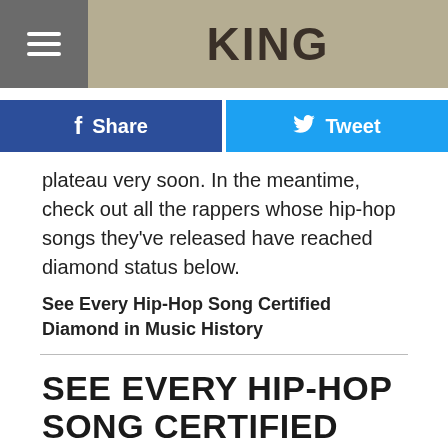KING
f Share
Tweet
plateau very soon. In the meantime, check out all the rappers whose hip-hop songs they've released have reached diamond status below.
See Every Hip-Hop Song Certified Diamond in Music History
SEE EVERY HIP-HOP SONG CERTIFIED DIAMOND IN MUSIC HISTORY
[Figure (photo): Dark photo of a person partially visible at the bottom, with green leafy plant foliage in the foreground and background]